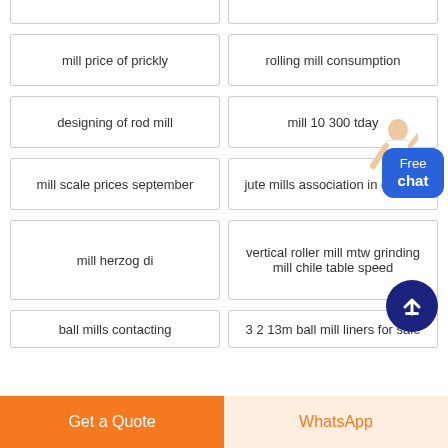mill price of prickly
rolling mill consumption
designing of rod mill
mill 10 300 tday
mill scale prices september
jute mills association in europe
mill herzog di
vertical roller mill mtw grinding mill chile table speed
ball mills contacting
3 2 13m ball mill liners for sale
Free chat
Get a Quote
WhatsApp